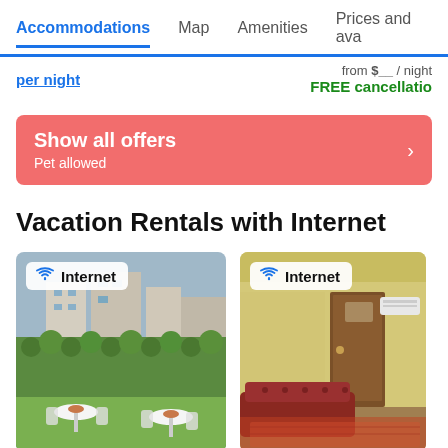Accommodations  Map  Amenities  Prices and availability
from $__ / night
FREE cancellation
[Figure (other): Red/salmon Show all offers banner with text 'Show all offers' and subtitle 'Pet allowed' with arrow chevron on right]
Vacation Rentals with Internet
[Figure (photo): Terrace/outdoor seating area with white iron chairs and tables, green hedge wall, building rooftops visible. Internet badge overlay.]
[Figure (photo): Interior room with warm yellow walls, wooden door, red leather sofa, patterned rug. Internet badge overlay.]